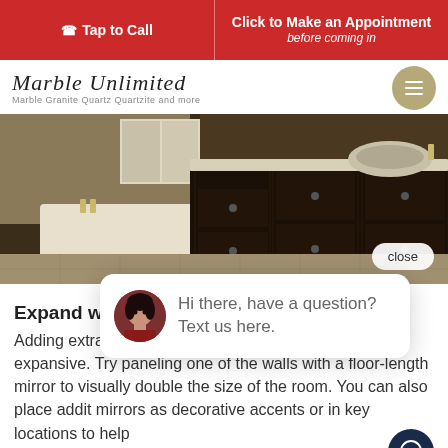Tap to Call | Click to Make an Appointment before coming in
[Figure (logo): Marble Unlimited script logo with tagline: Marble Granite Quartz Quartzite and more]
[Figure (photo): Bathroom interior with dark wood vanity cabinets, white countertop sink, bathtub, and tiled flooring. A 'close' button overlay appears in the bottom right.]
Expand with Mir
Adding extra mir bathroom seem grander and more expansive. Try paneling one of the walls with a floor-length mirror to visually double the size of the room. You can also place addit mirrors as decorative accents or in key locations to help
Hi there, have a question? Text us here.